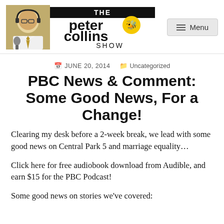[Figure (logo): The Peter Collins Show logo with photo of host wearing headphones on left, and stylized text logo with bee mascot on right]
Menu
JUNE 20, 2014   Uncategorized
PBC News & Comment: Some Good News, For a Change!
Clearing my desk before a 2-week break, we lead with some good news on Central Park 5 and marriage equality…
Click here for free audiobook download from Audible, and earn $15 for the PBC Podcast!
Some good news on stories we've covered: